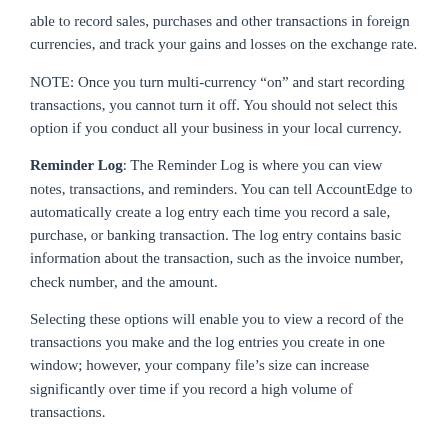able to record sales, purchases and other transactions in foreign currencies, and track your gains and losses on the exchange rate.
NOTE: Once you turn multi-currency “on” and start recording transactions, you cannot turn it off. You should not select this option if you conduct all your business in your local currency.
Reminder Log: The Reminder Log is where you can view notes, transactions, and reminders. You can tell AccountEdge to automatically create a log entry each time you record a sale, purchase, or banking transaction. The log entry contains basic information about the transaction, such as the invoice number, check number, and the amount.
Selecting these options will enable you to view a record of the transactions you make and the log entries you create in one window; however, your company file’s size can increase significantly over time if you record a high volume of transactions.